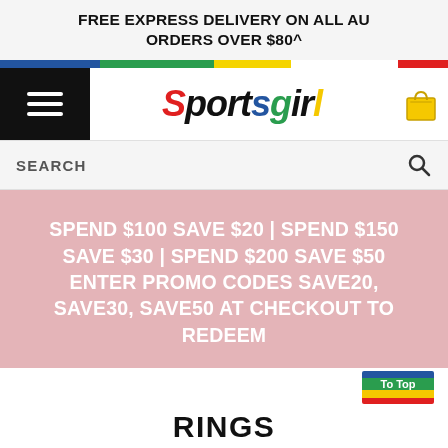FREE EXPRESS DELIVERY ON ALL AU ORDERS OVER $80^
[Figure (screenshot): Sportsgirl website header with colorful logo, hamburger menu, shopping bag icon, search bar, promo banner, and Rings section heading]
SPEND $100 SAVE $20 | SPEND $150 SAVE $30 | SPEND $200 SAVE $50 ENTER PROMO CODES SAVE20, SAVE30, SAVE50 AT CHECKOUT TO REDEEM
RINGS